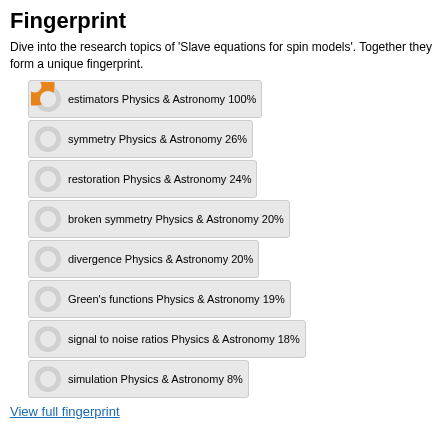Fingerprint
Dive into the research topics of 'Slave equations for spin models'. Together they form a unique fingerprint.
estimators Physics & Astronomy 100%
symmetry Physics & Astronomy 26%
restoration Physics & Astronomy 24%
broken symmetry Physics & Astronomy 20%
divergence Physics & Astronomy 20%
Green's functions Physics & Astronomy 19%
signal to noise ratios Physics & Astronomy 18%
simulation Physics & Astronomy 8%
View full fingerprint